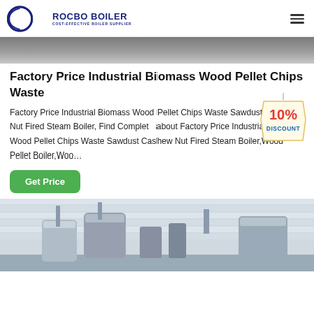ROCBO BOILER - COST-EFFECTIVE BOILER SUPPLIER
[Figure (photo): Top portion of an industrial boiler product photo, grey metallic surface]
Factory Price Industrial Biomass Wood Pellet Chips Waste
Factory Price Industrial Biomass Wood Pellet Chips Waste Sawdust Cashew Nut Fired Steam Boiler, Find Complete about Factory Price Industrial Biomass Wood Pellet Chips Waste Sawdust Cashew Nut Fired Steam Boiler,Wood Pellet Boiler,Woo…
[Figure (illustration): 10% DISCOUNT badge/sticker, red and blue text on yellow-white tag shape]
Get Price
[Figure (photo): Industrial biomass boiler equipment interior photo showing pipes and metallic components in a facility]